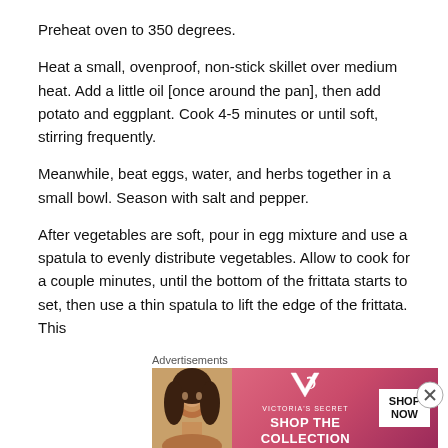Preheat oven to 350 degrees.
Heat a small, ovenproof, non-stick skillet over medium heat. Add a little oil [once around the pan], then add potato and eggplant. Cook 4-5 minutes or until soft, stirring frequently.
Meanwhile, beat eggs, water, and herbs together in a small bowl. Season with salt and pepper.
After vegetables are soft, pour in egg mixture and use a spatula to evenly distribute vegetables. Allow to cook for a couple minutes, until the bottom of the frittata starts to set, then use a thin spatula to lift the edge of the frittata. This
Advertisements
[Figure (other): Victoria's Secret advertisement banner with a woman's photo, VS logo, 'SHOP THE COLLECTION' text, and 'SHOP NOW' button on a pink background.]